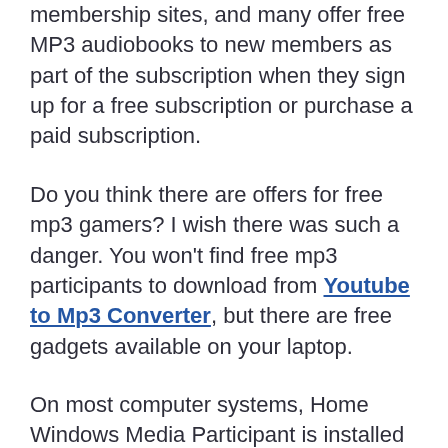membership sites, and many offer free MP3 audiobooks to new members as part of the subscription when they sign up for a free subscription or purchase a paid subscription.
Do you think there are offers for free mp3 gamers? I wish there was such a danger. You won't find free mp3 participants to download from Youtube to Mp3 Converter, but there are free gadgets available on your laptop.
On most computer systems, Home Windows Media Participant is installed and ready to use.